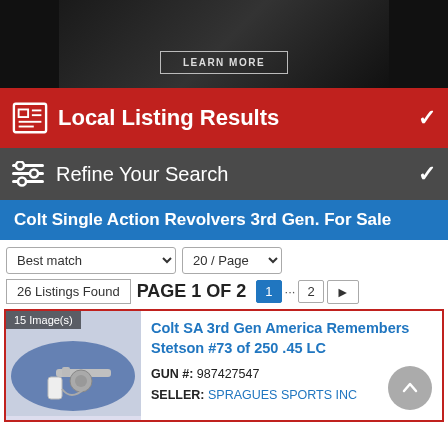[Figure (photo): Dark advertisement banner with 'LEARN MORE' button]
Local Listing Results
Refine Your Search
Colt Single Action Revolvers 3rd Gen. For Sale
Best match | 20 / Page
26 Listings Found | PAGE 1 OF 2 | 1 ... 2 >
[Figure (photo): Photo of a Colt revolver on blue fabric, labeled 15 Image(s)]
Colt SA 3rd Gen America Remembers Stetson #73 of 250 .45 LC
GUN #: 987427547
SELLER: SPRAGUES SPORTS INC